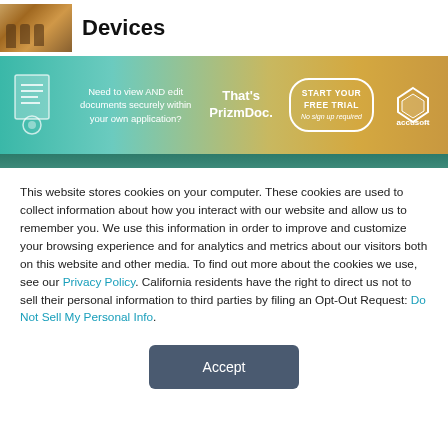[Figure (photo): Small thumbnail photo showing people silhouettes with warm orange/brown tones]
Devices
[Figure (infographic): Advertisement banner for PrizmDoc by Accusoft. Text: 'Need to view AND edit documents securely within your own application? That's PrizmDoc. START YOUR FREE TRIAL No sign up required' with Accusoft logo. Gradient background from teal to gold.]
This website stores cookies on your computer. These cookies are used to collect information about how you interact with our website and allow us to remember you. We use this information in order to improve and customize your browsing experience and for analytics and metrics about our visitors both on this website and other media. To find out more about the cookies we use, see our Privacy Policy. California residents have the right to direct us not to sell their personal information to third parties by filing an Opt-Out Request: Do Not Sell My Personal Info.
Accept